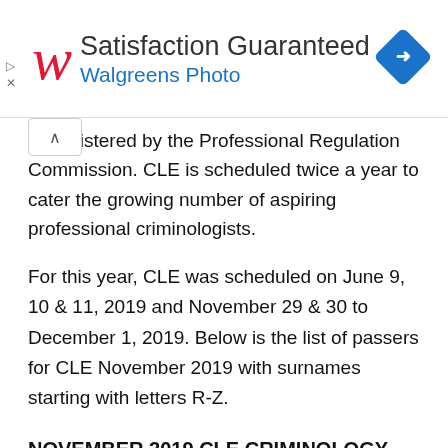[Figure (other): Walgreens Photo advertisement banner with red italic W logo, text 'Satisfaction Guaranteed' and 'Walgreens Photo' in blue, and a blue diamond navigation icon on the right.]
administered by the Professional Regulation Commission. CLE is scheduled twice a year to cater the growing number of aspiring professional criminologists.
For this year, CLE was scheduled on June 9, 10 & 11, 2019 and November 29 & 30 to December 1, 2019. Below is the list of passers for CLE November 2019 with surnames starting with letters R-Z.
NOVEMBER 2019 CLE CRIMINOLOGY RESULTS SUMMARY